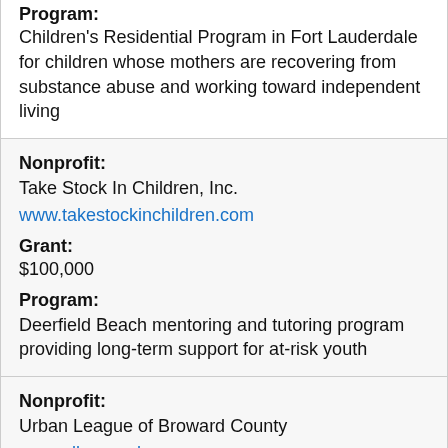Program: Children's Residential Program in Fort Lauderdale for children whose mothers are recovering from substance abuse and working toward independent living
Nonprofit: Take Stock In Children, Inc.
www.takestockinchildren.com
Grant: $100,000
Program: Deerfield Beach mentoring and tutoring program providing long-term support for at-risk youth
Nonprofit: Urban League of Broward County
www.ulbroward.org